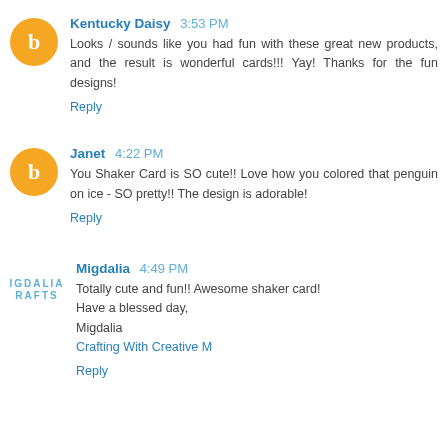Kentucky Daisy 3:53 PM
Looks / sounds like you had fun with these great new products, and the result is wonderful cards!!! Yay! Thanks for the fun designs!
Reply
Janet 4:22 PM
You Shaker Card is SO cute!! Love how you colored that penguin on ice - SO pretty!! The design is adorable!
Reply
Migdalia 4:49 PM
Totally cute and fun!! Awesome shaker card!
Have a blessed day,
Migdalia
Crafting With Creative M
Reply